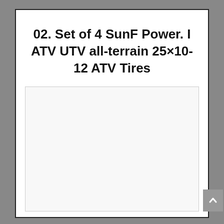02. Set of 4 SunF Power. I ATV UTV all-terrain 25×10-12 ATV Tires
[Figure (other): Empty white image placeholder box for product image]